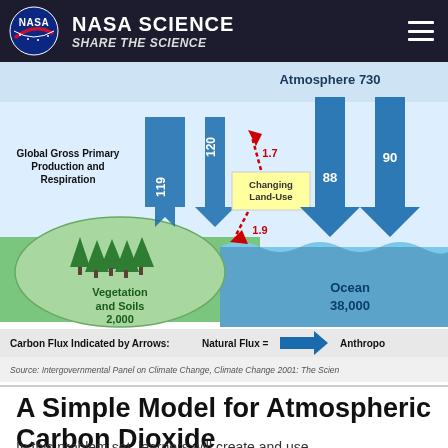NASA SCIENCE — SHARE THE SCIENCE
[Figure (infographic): Carbon cycle diagram showing atmospheric CO2 fluxes. Atmosphere reservoir: 730. Vegetation and Soils reservoir: 2,000. Ocean reservoir: 38,000. Carbon fluxes shown by arrows: Global Gross Primary Production (119 up, 120 down), Changing Land-Use (1.7 up, 1.9 down), Ocean exchange (88 up, 90 down). Legend: Carbon Flux Indicated by Arrows: Natural Flux = blue arrow, Anthropogenic shown. Source: Intergovernmental Panel on Climate Change, Climate Change 2001: The Science.]
A Simple Model for Atmospheric Carbon Dioxide
In this problem set, learners will create and use